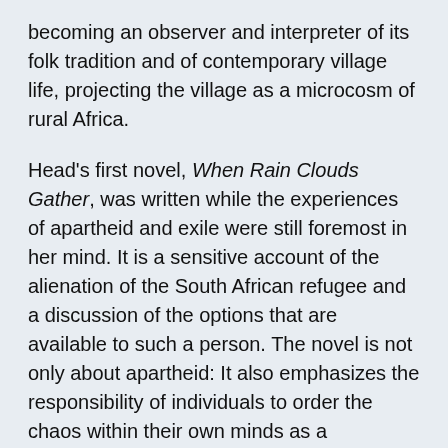becoming an observer and interpreter of its folk tradition and of contemporary village life, projecting the village as a microcosm of rural Africa.
Head's first novel, When Rain Clouds Gather, was written while the experiences of apartheid and exile were still foremost in her mind. It is a sensitive account of the alienation of the South African refugee and a discussion of the options that are available to such a person. The novel is not only about apartheid: It also emphasizes the responsibility of individuals to order the chaos within their own minds as a precondition to accepting the peace that an agricultural community can provide. By the time she was writing Maru, Head was more deeply involved in